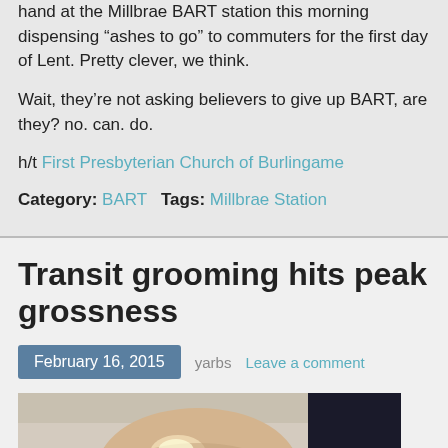hand at the Millbrae BART station this morning dispensing “ashes to go” to commuters for the first day of Lent. Pretty clever, we think.
Wait, they’re not asking believers to give up BART, are they? no. can. do.
h/t First Presbyterian Church of Burlingame
Category: BART   Tags: Millbrae Station
Transit grooming hits peak grossness
February 16, 2015  yarbs  Leave a comment
[Figure (photo): Photo of a person's bald head on a transit vehicle, viewed from above and behind]